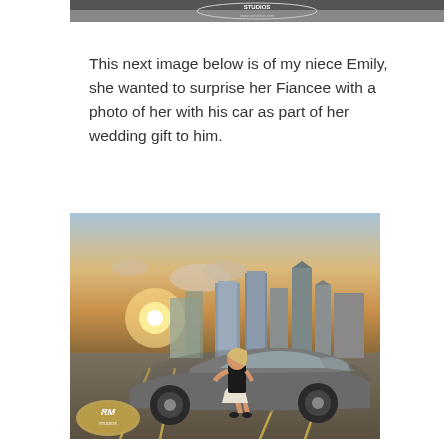[Figure (photo): Top cropped photo showing a studios watermark/logo with text 'STUDIOS' and 'www.carsinhdr.com' on a dark background]
This next image below is of my niece Emily, she wanted to surprise her Fiancee with a photo of her with his car as part of her wedding gift to him.
[Figure (photo): Photo of a blonde woman in a black dress leaning against a grey Porsche sports car on a rooftop parking lot with a city skyline and sunset in the background. An RM Studios watermark/logo is visible in the bottom left corner.]